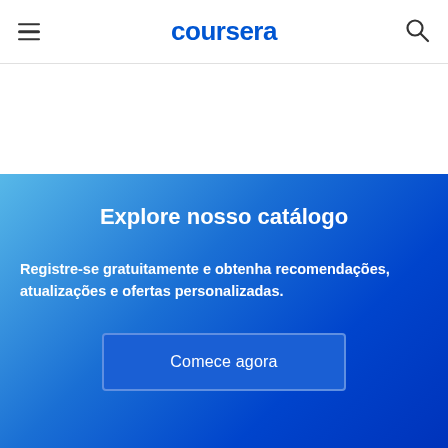coursera
Explore nosso catálogo
Registre-se gratuitamente e obtenha recomendações, atualizações e ofertas personalizadas.
Comece agora